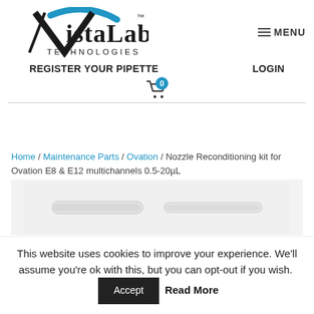[Figure (logo): VistaLab Technologies logo with blue arc and black V shape, TM mark]
REGISTER YOUR PIPETTE   LOGIN
Home / Maintenance Parts / Ovation / Nozzle Reconditioning kit for Ovation E8 & E12 multichannels 0.5-20µL
[Figure (photo): Product photo of nozzle reconditioning kit components on white background]
This website uses cookies to improve your experience. We'll assume you're ok with this, but you can opt-out if you wish. Accept  Read More